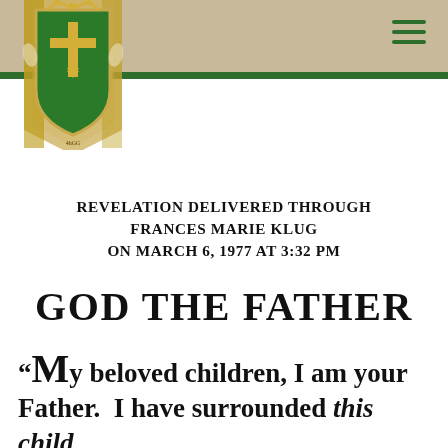[Figure (logo): Green heraldic shield with gold cross and Star of David, crowned, flanked by floral elements, on a tan/gold ribbon banner background. Logo for a religious organization.]
REVELATION DELIVERED THROUGH FRANCES MARIE KLUG ON MARCH 6, 1977 AT 3:32 PM
GOD THE FATHER
“My beloved children, I am your Father. I have surrounded this child